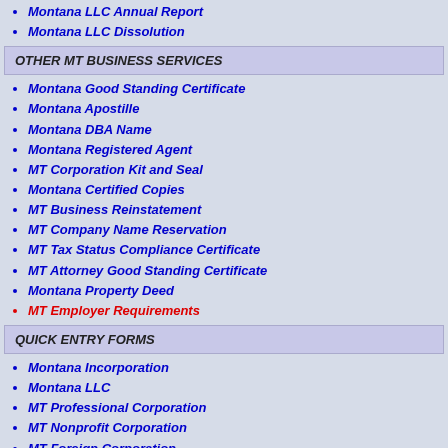Montana LLC Annual Report
Montana LLC Dissolution
OTHER MT BUSINESS SERVICES
Montana Good Standing Certificate
Montana Apostille
Montana DBA Name
Montana Registered Agent
MT Corporation Kit and Seal
Montana Certified Copies
MT Business Reinstatement
MT Company Name Reservation
MT Tax Status Compliance Certificate
MT Attorney Good Standing Certificate
Montana Property Deed
MT Employer Requirements
QUICK ENTRY FORMS
Montana Incorporation
Montana LLC
MT Professional Corporation
MT Nonprofit Corporation
MT Foreign Corporation
MT Foreign LLC
MT LLC Dissolution
MT Corporation Dissolution